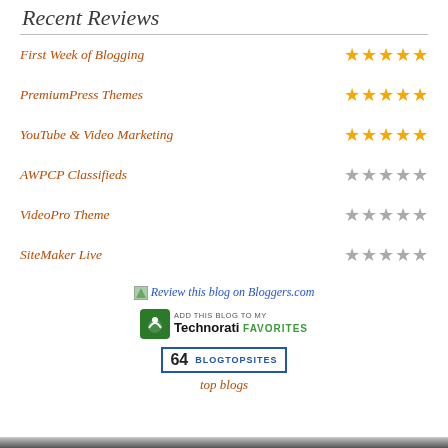Recent Reviews
First Week of Blogging — 5 stars (gold)
PremiumPress Themes — 5 stars (gold)
YouTube & Video Marketing — 5 stars (gold)
AWPCP Classifieds — 5 stars (gray)
VideoPro Theme — 5 stars (gray)
SiteMaker Live — 5 stars (gray)
[Figure (logo): Review this blog on Bloggers.com link with icon]
[Figure (logo): Add this blog to my Technorati Favorites button]
[Figure (logo): 64 BlogTopSites badge]
top blogs